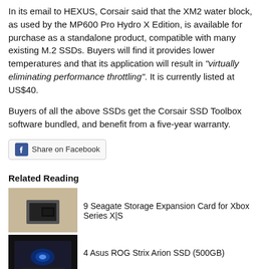In its email to HEXUS, Corsair said that the XM2 water block, as used by the MP600 Pro Hydro X Edition, is available for purchase as a standalone product, compatible with many existing M.2 SSDs. Buyers will find it provides lower temperatures and that its application will result in "virtually eliminating performance throttling". It is currently listed at US$40.
Buyers of all the above SSDs get the Corsair SSD Toolbox software bundled, and benefit from a five-year warranty.
[Figure (other): Facebook Share on Facebook button]
Related Reading
[Figure (photo): Seagate Storage Expansion Card for Xbox Series X|S thumbnail]
9 Seagate Storage Expansion Card for Xbox Series X|S
[Figure (photo): Asus ROG Strix Arion SSD (500GB) thumbnail]
4 Asus ROG Strix Arion SSD (500GB)
[Figure (photo): Third related article thumbnail]